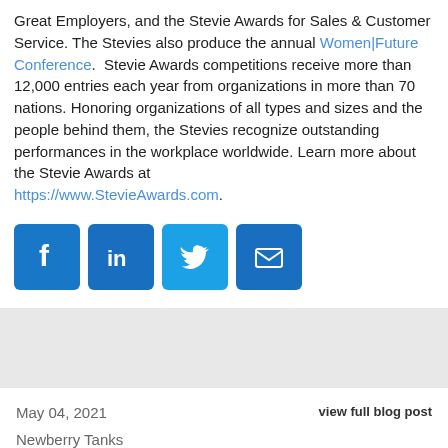Great Employers, and the Stevie Awards for Sales & Customer Service. The Stevies also produce the annual Women|Future Conference.  Stevie Awards competitions receive more than 12,000 entries each year from organizations in more than 70 nations. Honoring organizations of all types and sizes and the people behind them, the Stevies recognize outstanding performances in the workplace worldwide. Learn more about the Stevie Awards at https://www.StevieAwards.com.
[Figure (infographic): Four social media share buttons: Facebook (blue), LinkedIn (blue), Twitter (blue), Email (blue)]
view full blog post
May 04, 2021
Newberry Tanks